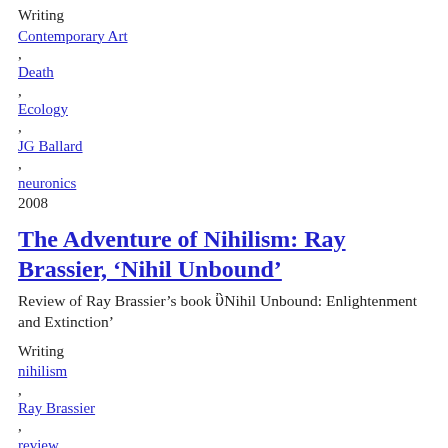Writing
Contemporary Art
,
Death
,
Ecology
,
JG Ballard
,
neuronics
2008
The Adventure of Nihilism: Ray Brassier, ‘Nihil Unbound’
Review of Ray Brassier’s book ‘Nihil Unbound: Enlightenment and Extinction’
Writing
nihilism
,
Ray Brassier
,
review